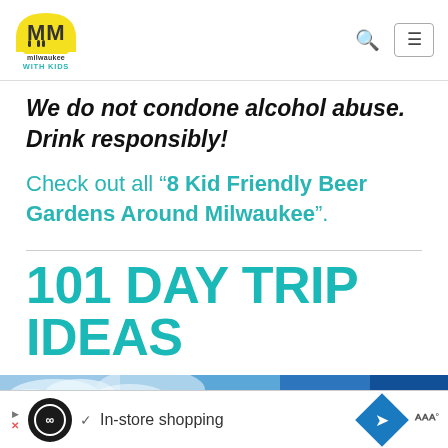[Figure (logo): Milwaukee With Kids logo — yellow dome with 'MM' lettering, text below reads 'milwaukee WITH KIDS']
We do not condone alcohol abuse. Drink responsibly!
Check out all “8 Kid Friendly Beer Gardens Around Milwaukee”.
101 DAY TRIP IDEAS
[Figure (photo): Partial blue sky and clouds photo strip]
[Figure (other): Ad bar at bottom: circular logo, checkmark, 'In-store shopping' text, blue diamond navigation icon, and stylized logo]